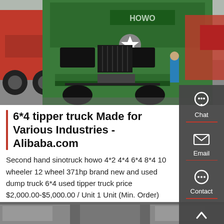[Figure (photo): Front view of a green HOWO brand heavy-duty truck in a vehicle lot, with red trucks visible on the left and white/red trucks on the right. A person in a blue jacket is visible in the background.]
6*4 tipper truck Made for Various Industries - Alibaba.com
Second hand sinotruck howo 4*2 4*4 6*4 8*4 10 wheeler 12 wheel 371hp brand new and used dump truck 6*4 used tipper truck price $2,000.00-$5,000.00 / Unit 1 Unit (Min. Order)
Get a Quote
[Figure (photo): Partial view of trucks visible at the bottom strip of the page.]